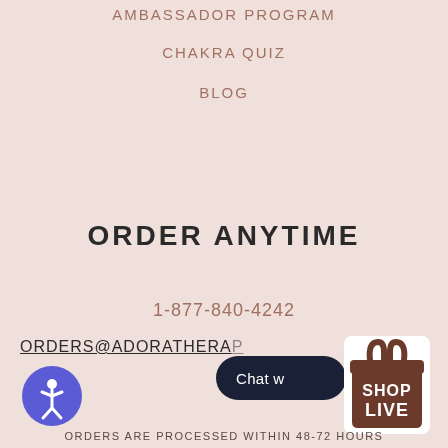AMBASSADOR PROGRAM
CHAKRA QUIZ
BLOG
ORDER ANYTIME
1-877-840-4242
ORDERS@ADORATHERAP…
[Figure (infographic): Accessibility icon button (purple circle with person icon), dark pill-shaped chat button, and Shop Live shopping bag badge]
ORDERS ARE PROCESSED WITHIN 48-72 HOURS